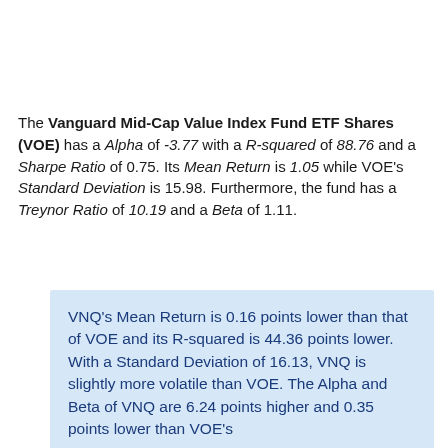The Vanguard Mid-Cap Value Index Fund ETF Shares (VOE) has a Alpha of -3.77 with a R-squared of 88.76 and a Sharpe Ratio of 0.75. Its Mean Return is 1.05 while VOE's Standard Deviation is 15.98. Furthermore, the fund has a Treynor Ratio of 10.19 and a Beta of 1.11.
VNQ's Mean Return is 0.16 points lower than that of VOE and its R-squared is 44.36 points lower. With a Standard Deviation of 16.13, VNQ is slightly more volatile than VOE. The Alpha and Beta of VNQ are 6.24 points higher and 0.35 points lower than VOE's